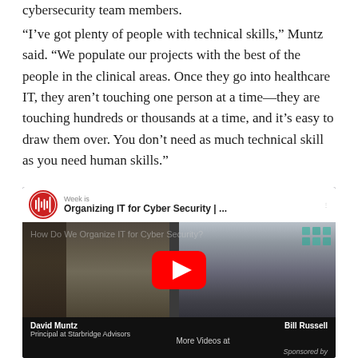cybersecurity team members.
“I’ve got plenty of people with technical skills,” Muntz said. “We populate our projects with the best of the people in the clinical areas. Once they go into healthcare IT, they aren’t touching one person at a time—they are touching hundreds or thousands at a time, and it’s easy to draw them over. You don’t need as much technical skill as you need human skills.”
[Figure (screenshot): Embedded YouTube video thumbnail showing two men in a video call. Title reads 'Organizing IT for Cyber Security | ...' with a red play button overlay. Bottom left caption: David Muntz, Principal at Starbridge Advisors. Bottom right caption: Bill Russell. Bottom center: More Videos at. Bottom right: Sponsored by.]